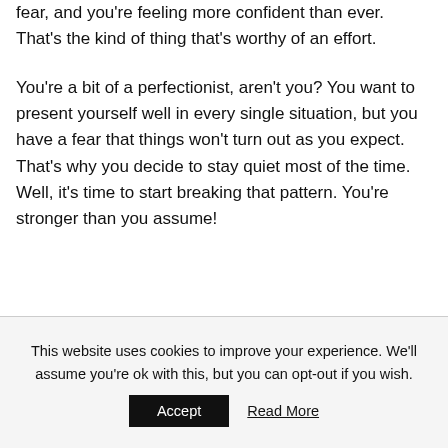fear, and you're feeling more confident than ever. That's the kind of thing that's worthy of an effort.
You're a bit of a perfectionist, aren't you? You want to present yourself well in every single situation, but you have a fear that things won't turn out as you expect. That's why you decide to stay quiet most of the time. Well, it's time to start breaking that pattern. You're stronger than you assume!
This website uses cookies to improve your experience. We'll assume you're ok with this, but you can opt-out if you wish.
Accept
Read More